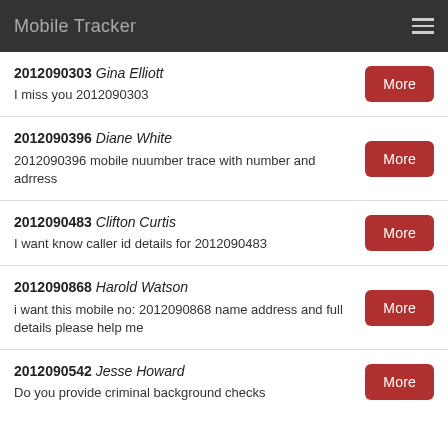Mobile Tracker
2012090303 Gina Elliott
I miss you 2012090303
2012090396 Diane White
2012090396 mobile nuumber trace with number and adrress
2012090483 Clifton Curtis
I want know caller id details for 2012090483
2012090868 Harold Watson
i want this mobile no: 2012090868 name address and full details please help me
2012090542 Jesse Howard
Do you provide criminal background checks